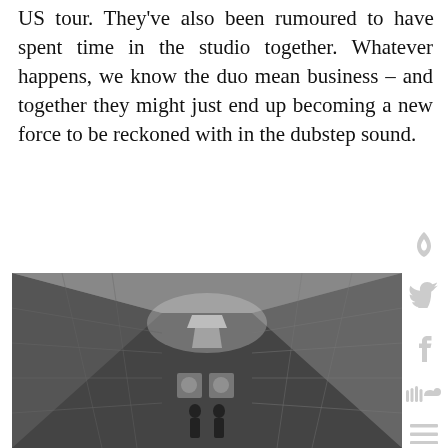US tour. They've also been rumoured to have spent time in the studio together. Whatever happens, we know the duo mean business – and together they might just end up becoming a new force to be reckoned with in the dubstep sound.
[Figure (other): Sidebar social media icons: flame/brand icon, Twitter bird, Facebook f, SoundCloud waves, hamburger menu]
[Figure (photo): Black and white photograph of two silhouetted figures standing at the end of a long tunnel or corridor with tiled walls and overhead lighting]